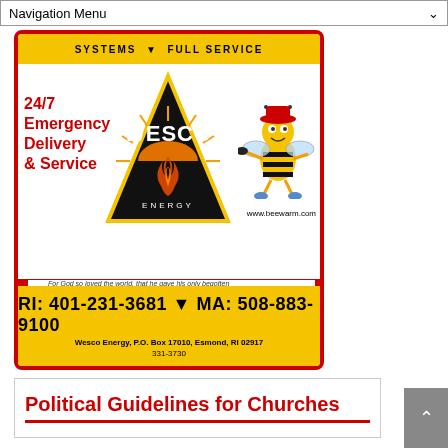Navigation Menu
[Figure (logo): Wesco Energy advertisement with logo, bee mascot, 24/7 Emergency Delivery & Service text, bible verse, phone numbers and address on yellow and white background with red border]
Political Guidelines for Churches